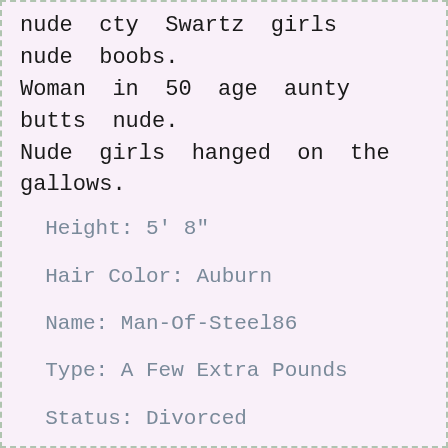nude cty Swartz girls nude boobs. Woman in 50 age aunty butts nude. Nude girls hanged on the gallows.
Height: 5' 8"
Hair Color: Auburn
Name: Man-Of-Steel86
Type: A Few Extra Pounds
Status: Divorced
Age: 52